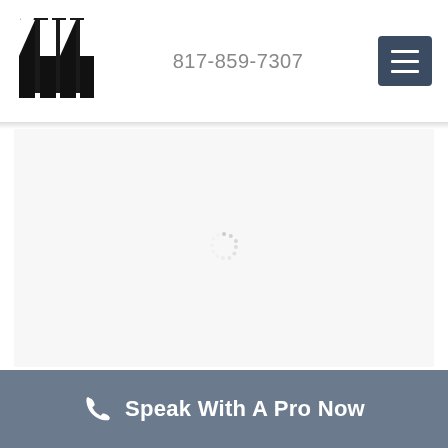[Figure (logo): Law firm logo — two stylized vertical strokes forming initials in black]
817-859-7307
[Figure (other): Dark blue-grey hamburger menu button with three white horizontal lines]
[Figure (other): Loading spinner — light grey circular dashed spinner icon centered in off-white content area]
Speak With A Pro Now